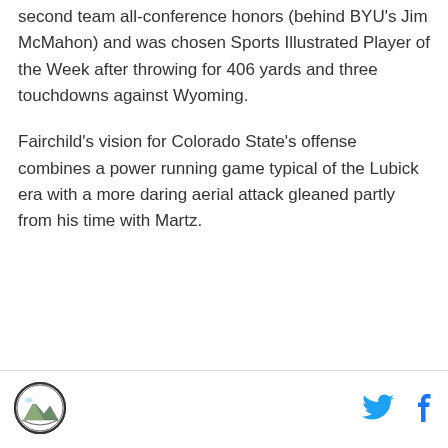second team all-conference honors (behind BYU's Jim McMahon) and was chosen Sports Illustrated Player of the Week after throwing for 406 yards and three touchdowns against Wyoming.
Fairchild's vision for Colorado State's offense combines a power running game typical of the Lubick era with a more daring aerial attack gleaned partly from his time with Martz.
[Figure (logo): Circular logo with mountain/outdoor scene graphic, dark border]
[Figure (illustration): Twitter bird icon in cyan/blue color]
[Figure (illustration): Facebook 'f' icon in blue color]